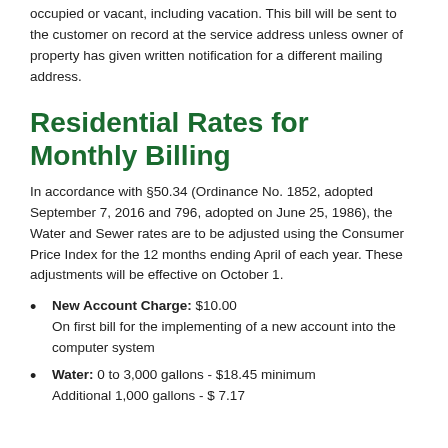occupied or vacant, including vacation. This bill will be sent to the customer on record at the service address unless owner of property has given written notification for a different mailing address.
Residential Rates for Monthly Billing
In accordance with §50.34 (Ordinance No. 1852, adopted September 7, 2016 and 796, adopted on June 25, 1986), the Water and Sewer rates are to be adjusted using the Consumer Price Index for the 12 months ending April of each year. These adjustments will be effective on October 1.
New Account Charge: $10.00 On first bill for the implementing of a new account into the computer system
Water: 0 to 3,000 gallons - $18.45 minimum Additional 1,000 gallons - $ 7.17